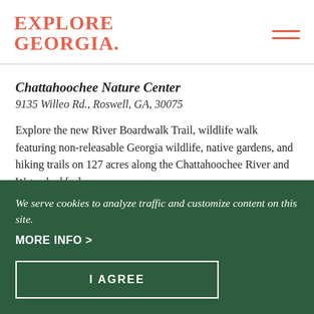EXPLORE GEORGIA
Chattahoochee Nature Center
9135 Willeo Rd., Roswell, GA, 30075
Explore the new River Boardwalk Trail, wildlife walk featuring non-releasable Georgia wildlife, native gardens, and hiking trails on 127 acres along the Chattahoochee River and Watershed [...]
We serve cookies to analyze traffic and customize content on this site.
MORE INFO >
I AGREE